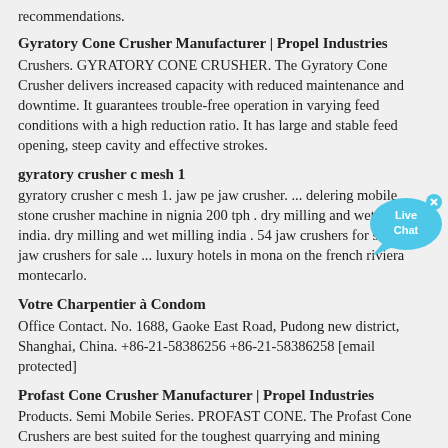recommendations.
Gyratory Cone Crusher Manufacturer | Propel Industries
Crushers. GYRATORY CONE CRUSHER. The Gyratory Cone Crusher delivers increased capacity with reduced maintenance and downtime. It guarantees trouble-free operation in varying feed conditions with a high reduction ratio. It has large and stable feed opening, steep cavity and effective strokes.
gyratory crusher c mesh 1
gyratory crusher c mesh 1. jaw pe jaw crusher. ... delering mobile stone crusher machine in nignia 200 tph . dry milling and wet milling india. dry milling and wet milling india . 54 jaw crushers for sale. 54 jaw crushers for sale ... luxury hotels in mona on the french riviera montecarlo.
Votre Charpentier à Condom
Office Contact. No. 1688, Gaoke East Road, Pudong new district, Shanghai, China. +86-21-58386256 +86-21-58386258 [email protected]
Profast Cone Crusher Manufacturer | Propel Industries
Products. Semi Mobile Series. PROFAST CONE. The Profast Cone Crushers are best suited for the toughest quarrying and mining applications. It can be easily towed from one site to another. It features a unique combination of crusher speed, throw and cavity design.